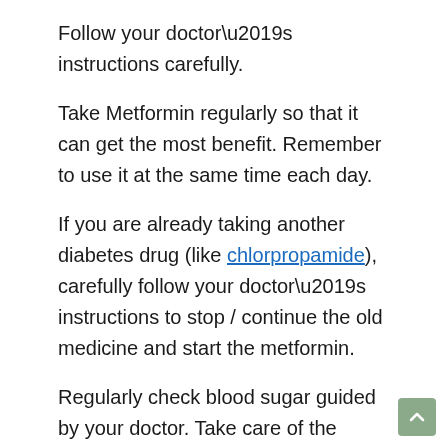Follow your doctor’s instructions carefully.
Take Metformin regularly so that it can get the most benefit. Remember to use it at the same time each day.
If you are already taking another diabetes drug (like chlorpropamide), carefully follow your doctor’s instructions to stop / continue the old medicine and start the metformin.
Regularly check blood sugar guided by your doctor. Take care of the results, and share them with your doctor. Tell your doctor if the measurement of your blood sugar is too high or too low. Your diet / treatment may need to be